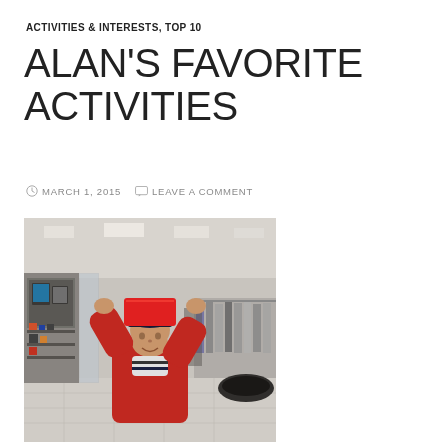ACTIVITIES & INTERESTS, TOP 10
ALAN'S FAVORITE ACTIVITIES
MARCH 1, 2015   LEAVE A COMMENT
[Figure (photo): A young boy in a red sweater and a navy Cleveland Indians baseball cap holds a red card up over his face in what appears to be a department store.]